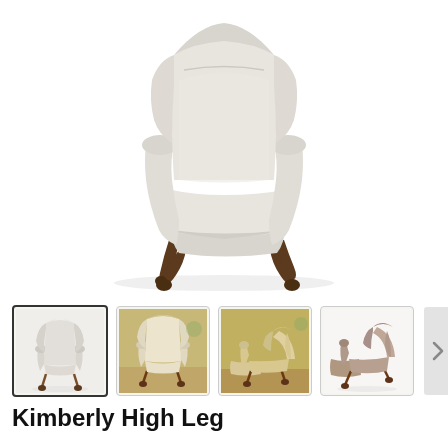[Figure (photo): Main product photo of the Kimberly High Leg recliner chair - light cream/grey upholstery with dark walnut queen anne legs, shown upright]
[Figure (photo): Thumbnail gallery showing 4 images of the Kimberly High Leg recliner in different colors and positions: (1) selected - light grey upright, (2) cream/beige in room setting, (3) tan/beige fully reclined, (4) brown/taupe reclined]
Kimberly High Leg